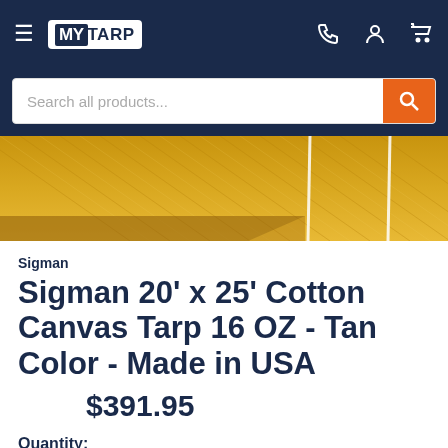MY TARP — navigation bar with hamburger menu, logo, phone, account, and cart icons
Search all products...
[Figure (photo): Close-up photo of tan/golden cotton canvas tarp fabric texture showing diagonal weave pattern and white seams]
Sigman
Sigman 20' x 25' Cotton Canvas Tarp 16 OZ - Tan Color - Made in USA
$391.95
Quantity:
1